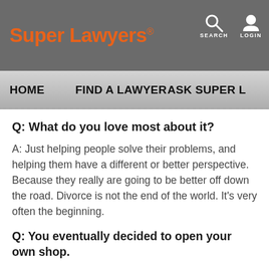Super Lawyers
HOME   FIND A LAWYER   ASK SUPER L...
Q: What do you love most about it?
A: Just helping people solve their problems, and helping them have a different or better perspective. Because they really are going to be better off down the road. Divorce is not the end of the world. It's very often the beginning.
Q: You eventually decided to open your own shop.
A: Yes. When I was 52. [Thompson] was never going to have a partner. I was a good briefcase carrier—there's very little I wouldn't have done for that wonderful, wonderful woman. She treated me fairly, and I tried to do everything I...